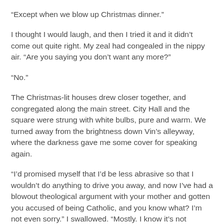“Except when we blow up Christmas dinner.”
I thought I would laugh, and then I tried it and it didn’t come out quite right. My zeal had congealed in the nippy air. “Are you saying you don’t want any more?”
“No.”
The Christmas-lit houses drew closer together, and congregated along the main street. City Hall and the square were strung with white bulbs, pure and warm. We turned away from the brightness down Vin’s alleyway, where the darkness gave me some cover for speaking again.
“I’d promised myself that I’d be less abrasive so that I wouldn’t do anything to drive you away, and now I’ve had a blowout theological argument with your mother and gotten you accused of being Catholic, and you know what? I’m not even sorry.” I swallowed. “Mostly. I know it’s not civilized of me and I ought to have a stiff upper lip and communicate solely through raised eyebrows, but I’m a big hot emotional mess and I say what I think and I can’t help it.”